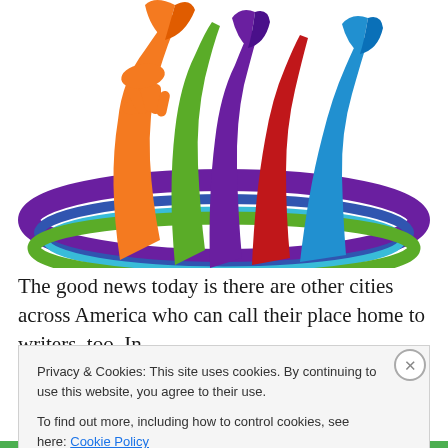[Figure (logo): Colorful raised hands (orange, green, purple, red, blue) holding books, rising from a rainbow arc of purple, blue, and green stripes — an education/literacy organization logo]
The good news today is there are other cities across America who can call their place home to writers, too. In
Privacy & Cookies: This site uses cookies. By continuing to use this website, you agree to their use.
To find out more, including how to control cookies, see here: Cookie Policy
Close and accept